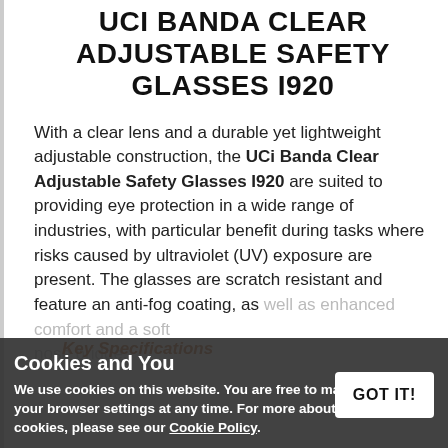UCI BANDA CLEAR ADJUSTABLE SAFETY GLASSES I920
With a clear lens and a durable yet lightweight adjustable construction, the UCi Banda Clear Adjustable Safety Glasses I920 are suited to providing eye protection in a wide range of industries, with particular benefit during tasks where risks caused by ultraviolet (UV) exposure are present. The glasses are scratch resistant and feature an anti-fog coating, as well as enhanced comfort and a soft nose bridge.
Key Specifications